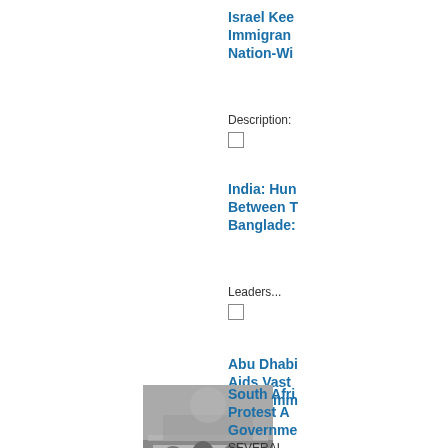Israel Keeps Immigrants Nation-Wi...
Description...
India: Hundreds Between Two Banglades...
Leaders...
Abu Dhabi Aids Vast Programm...
Abu Dhabi...
[Figure (photo): Protest scene showing people with a banner outdoors]
South Africa Protest Against Governme...
SEVERAL...